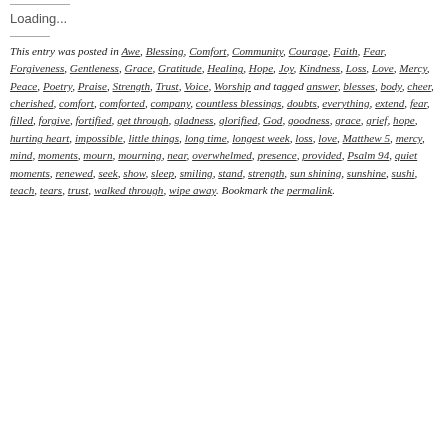Loading...
This entry was posted in Awe, Blessing, Comfort, Community, Courage, Faith, Fear, Forgiveness, Gentleness, Grace, Gratitude, Healing, Hope, Joy, Kindness, Loss, Love, Mercy, Peace, Poetry, Praise, Strength, Trust, Voice, Worship and tagged answer, blesses, body, cheer, cherished, comfort, comforted, company, countless blessings, doubts, everything, extend, fear, filled, forgive, fortified, get through, gladness, glorified, God, goodness, grace, grief, hope, hurting heart, impossible, little things, long time, longest week, loss, love, Matthew 5, mercy, mind, moments, mourn, mourning, near, overwhelmed, presence, provided, Psalm 94, quiet moments, renewed, seek, show, sleep, smiling, stand, strength, sun shining, sunshine, sushi, teach, tears, trust, walked through, wipe away. Bookmark the permalink.